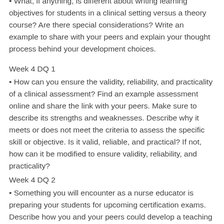• What, if anything, is different about writing learning objectives for students in a clinical setting versus a theory course? Are there special considerations? Write an example to share with your peers and explain your thought process behind your development choices.
Week 4 DQ 1
• How can you ensure the validity, reliability, and practicality of a clinical assessment? Find an example assessment online and share the link with your peers. Make sure to describe its strengths and weaknesses. Describe why it meets or does not meet the criteria to assess the specific skill or objective. Is it valid, reliable, and practical? If not, how can it be modified to ensure validity, reliability, and practicality?
Week 4 DQ 2
• Something you will encounter as a nurse educator is preparing your students for upcoming certification exams. Describe how you and your peers could develop a teaching and assessment plan to